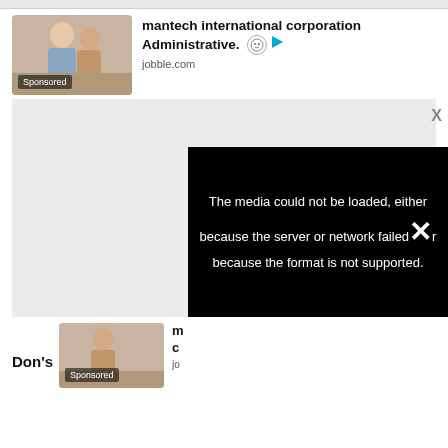[Figure (screenshot): Sponsored advertisement card for mantech international corporation Administrative on jobble.com, showing a thumbnail photo of two women working at a desk, a sponsored badge, ad title text, face icon and play icon, and source URL.]
mantech international corporation Administrative.
jobble.com
[Figure (screenshot): Large light gray rectangular content placeholder box representing an ad content area.]
[Figure (screenshot): Black video error overlay panel with white text: 'The media could not be loaded, either because the server or network failed or because the format is not supported.' with an X mark in the text.]
The media could not be loaded, either because the server or network failed or because the format is not supported.
Don's
[Figure (screenshot): Second sponsored ad card at bottom showing partial thumbnail of two women, sponsored badge, partial title starting with 'm' and 'c', and partial source URL starting with 'jo'.]